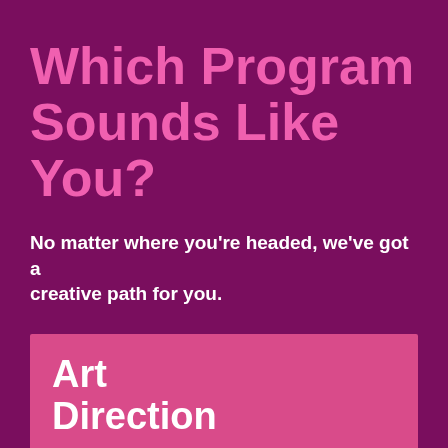Which Program Sounds Like You?
No matter where you're headed, we've got a creative path for you.
Art Direction